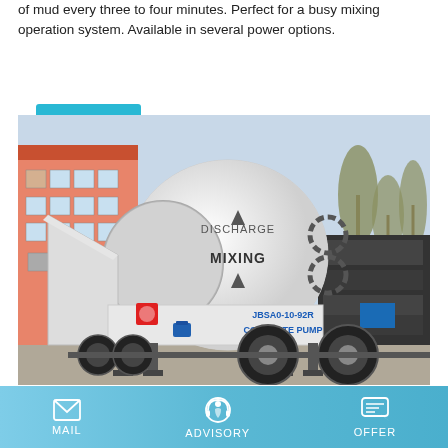of mud every three to four minutes. Perfect for a busy mixing operation system. Available in several power options.
Learn More
[Figure (photo): A white concrete mixer pump on a trailer (JBSA0-10-92R CONCRETE PUMP by QINGDAO), with a large cylindrical mixing drum labeled DISCHARGE MIXING, parked outdoors near a building.]
Cement Tanker - QINGDAO HETANOLI TRUCK CO., LTD
MAIL   ADVISORY   OFFER